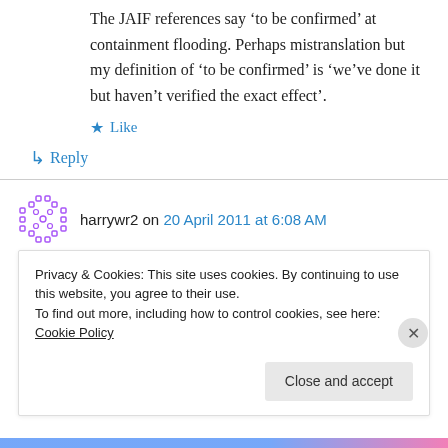The JAIF references say ‘to be confirmed’ at containment flooding. Perhaps mistranslation but my definition of ‘to be confirmed’ is ‘we’ve done it but haven’t verified the exact effect’.
★ Like
↳ Reply
harrywr2 on 20 April 2011 at 6:08 AM
Privacy & Cookies: This site uses cookies. By continuing to use this website, you agree to their use.
To find out more, including how to control cookies, see here: Cookie Policy